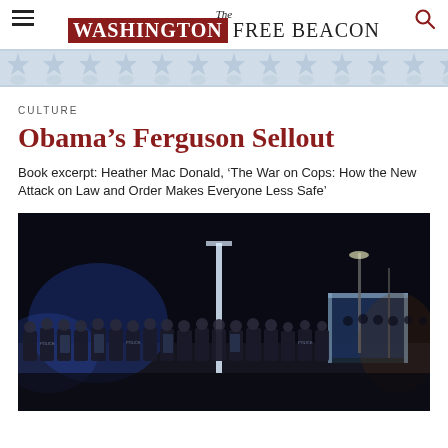The Washington Free Beacon
[Figure (illustration): Decorative star and shield banner pattern in light blue/grey tones]
CULTURE
Obama’s Ferguson Sellout
Book excerpt: Heather Mac Donald, ‘The War on Cops: How the New Attack on Law and Order Makes Everyone Less Safe’
[Figure (photo): Nighttime photo of a large line of police officers in riot gear standing on a street, with blue lighting and a lit sign/structure visible in the background. Ferguson protest scene.]